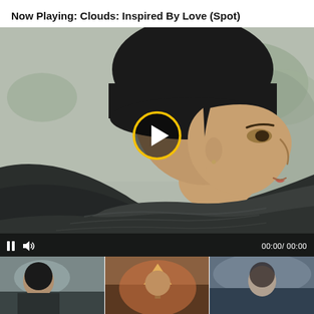Now Playing: Clouds: Inspired By Love (Spot)
[Figure (screenshot): Video player showing a woman wearing a black beanie hat and dark scarf coat in an outdoor winter scene. A yellow-outlined play button overlay is centered on the video. Video controls at the bottom show a pause icon, volume icon, and time display '00:00 / 00:00'.]
[Figure (photo): Three video thumbnail images in a row at the bottom showing related videos.]